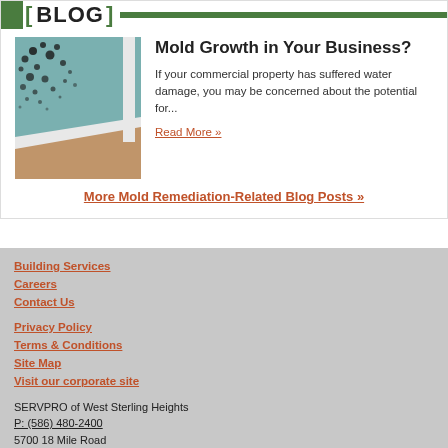BLOG
[Figure (photo): Photo of mold growth in the corner of a room, showing black mold on a teal/blue-green wall with white molding and wooden floor visible]
Mold Growth in Your Business?
If your commercial property has suffered water damage, you may be concerned about the potential for...
Read More »
More Mold Remediation-Related Blog Posts »
Building Services
Careers
Contact Us
Privacy Policy
Terms & Conditions
Site Map
Visit our corporate site
SERVPRO of West Sterling Heights
P: (586) 480-2400
5700 18 Mile Road